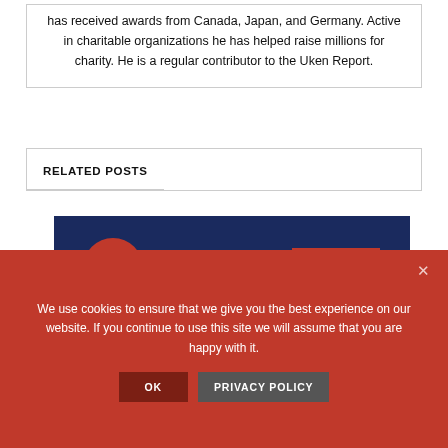has received awards from Canada, Japan, and Germany. Active in charitable organizations he has helped raise millions for charity. He is a regular contributor to the Uken Report.
RELATED POSTS
[Figure (logo): Uken Report logo on dark navy background. Circle UR monogram in red on left, UKEN text in large white bold letters, REPORT in white text on red rectangle. Below: THE FACTS COME FIRST in spaced white caps. Experienced | Honest | Respected in smaller white text.]
We use cookies to ensure that we give you the best experience on our website. If you continue to use this site we will assume that you are happy with it.
OK    PRIVACY POLICY